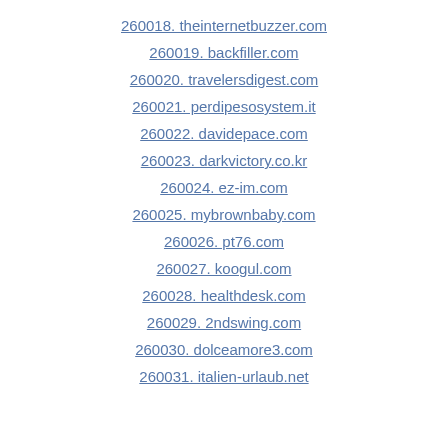260018. theinternetbuzzer.com
260019. backfiller.com
260020. travelersdigest.com
260021. perdipesosystem.it
260022. davidepace.com
260023. darkvictory.co.kr
260024. ez-im.com
260025. mybrownbaby.com
260026. pt76.com
260027. koogul.com
260028. healthdesk.com
260029. 2ndswing.com
260030. dolceamore3.com
260031. italien-urlaub.net